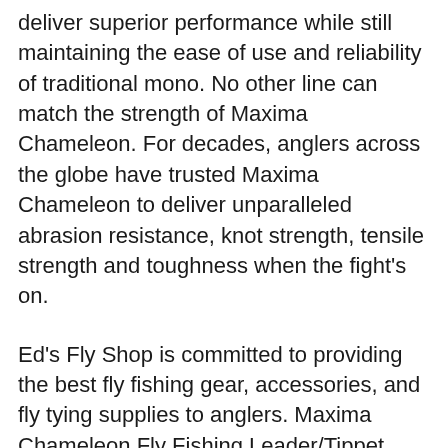deliver superior performance while still maintaining the ease of use and reliability of traditional mono. No other line can match the strength of Maxima Chameleon. For decades, anglers across the globe have trusted Maxima Chameleon to deliver unparalleled abrasion resistance, knot strength, tensile strength and toughness when the fight's on.
Ed's Fly Shop is committed to providing the best fly fishing gear, accessories, and fly tying supplies to anglers. Maxima Chameleon Fly Fishing Leader/Tippet Material. Maxima. $3.99 (2 reviews) MAXIMA's exclusive Chameleon has the unique property of